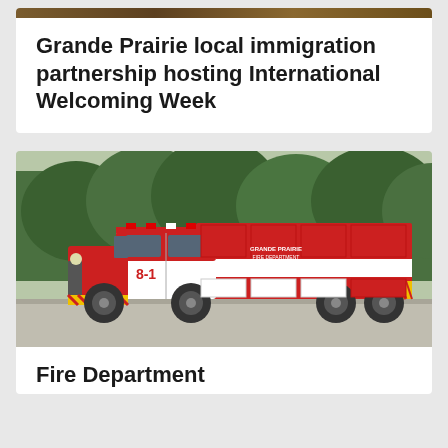[Figure (photo): Top cropped photo, partial brown/earthy toned image visible at top of first card]
Grande Prairie local immigration partnership hosting International Welcoming Week
[Figure (photo): Red and white Grande Prairie Fire Department fire truck parked on gravel with green trees in background]
Fire Department